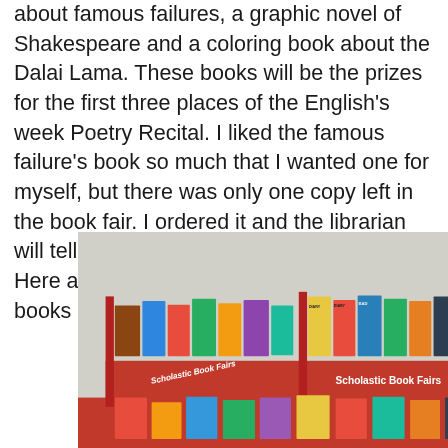about famous failures, a graphic novel of Shakespeare and a coloring book about the Dalai Lama. These books will be the prizes for the first three places of the English's week Poetry Recital. I liked the famous failure's book so much that I wanted one for myself, but there was only one copy left in the book fair. I ordered it and the librarian will tell me on Wednesday if it is on stock. Here are pictures of the book fair and of the books I bought for my students:
[Figure (photo): A Scholastic Book Fairs display with red dividers holding many children's books arranged facing outward. Various book covers are visible including Diary of a Wimpy Kid and others. The red display stand has 'Scholastic Book Fairs' text printed on it.]